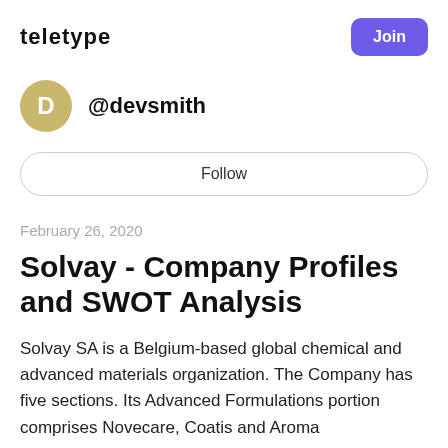Teletype
Join
[Figure (illustration): User avatar circle with letter D in gold/olive color]
@devsmith
Follow
February 26, 2020
Solvay - Company Profiles and SWOT Analysis
Solvay SA is a Belgium-based global chemical and advanced materials organization. The Company has five sections. Its Advanced Formulations portion comprises Novecare, Coatis and Aroma